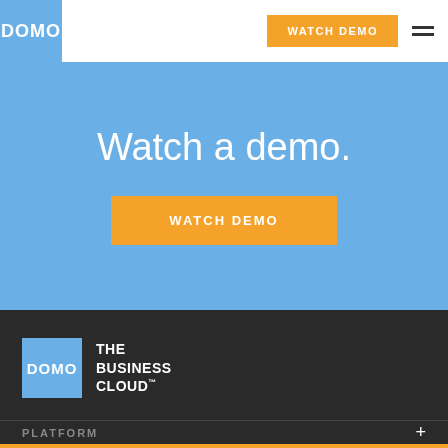DOMO | WATCH DEMO
Watch a demo.
WATCH DEMO
[Figure (logo): Domo logo — white text DOMO on blue square background with tagline THE BUSINESS CLOUD™]
PLATFORM +